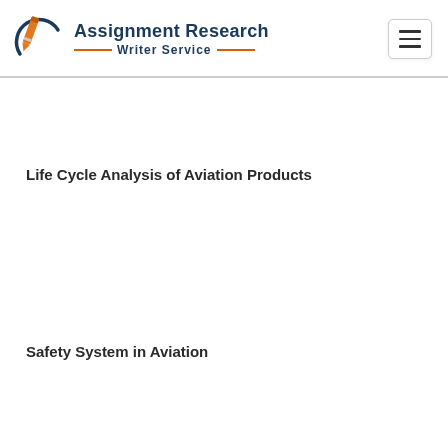Assignment Research Writer Service
Life Cycle Analysis of Aviation Products
Safety System in Aviation